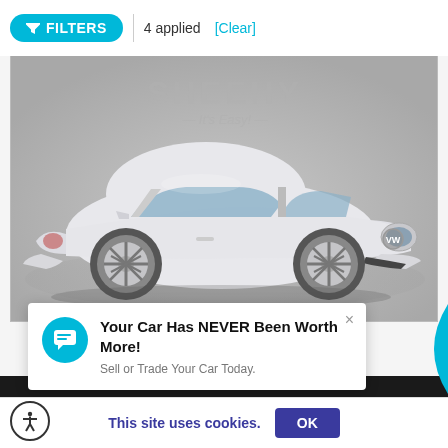[Figure (screenshot): Filter bar with cyan FILTERS button, '4 applied' text, and [Clear] link]
[Figure (photo): White Volkswagen Beetle photographed in a dealer studio setting with Sheehy 'It's Easy!' watermark on grey background]
[Figure (infographic): White popup overlay with cyan chat icon, bold title 'Your Car Has NEVER Been Worth More!', subtitle 'Sell or Trade Your Car Today.', and X close button]
This site uses cookies.
[Figure (screenshot): Cookie consent bar with accessibility icon, 'This site uses cookies.' text in blue, and dark blue OK button]